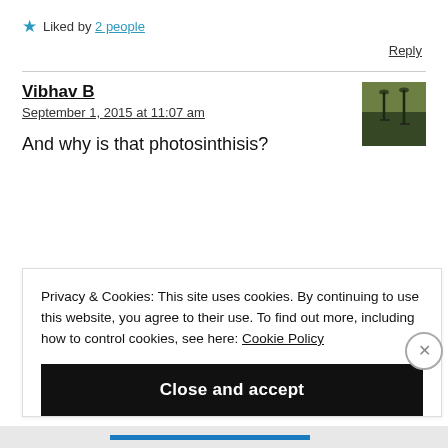★ Liked by 2 people
Reply
Vibhav B
September 1, 2015 at 11:07 am
And why is that photosinthisis?
Privacy & Cookies: This site uses cookies. By continuing to use this website, you agree to their use. To find out more, including how to control cookies, see here: Cookie Policy
Close and accept